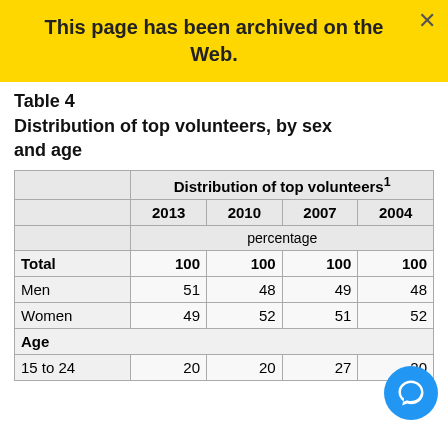This page has been archived on the Web.
Table 4
Distribution of top volunteers, by sex and age
|  | Distribution of top volunteers¹ |  |  |  |
| --- | --- | --- | --- | --- |
|  | percentage |  |  |  |
| Total | 100 | 100 | 100 | 100 |
| Men | 51 | 48 | 49 | 48 |
| Women | 49 | 52 | 51 | 52 |
| Age |  |  |  |  |
| 15 to 24 | 20 | 20 | 27 | 20 |